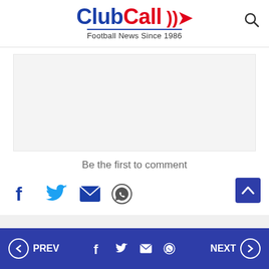ClubCall — Football News Since 1986
[Figure (other): Advertisement placeholder block, light gray background]
Be the first to comment
[Figure (other): Social sharing icons: Facebook, Twitter, Email, WhatsApp]
PREV | social icons | NEXT navigation bar